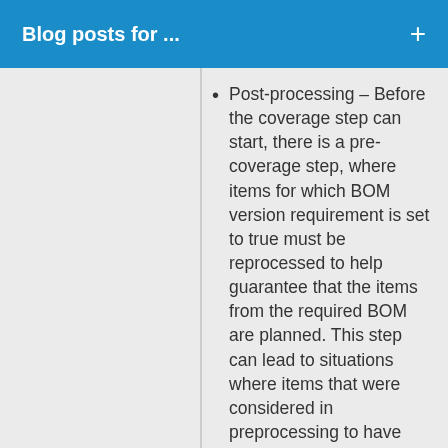Blog posts for ...
Post-processing – Before the coverage step can start, there is a pre-coverage step, where items for which BOM version requirement is set to true must be reprocessed to help guarantee that the items from the required BOM are planned. This step can lead to situations where items that were considered in preprocessing to have both on-hand quantity